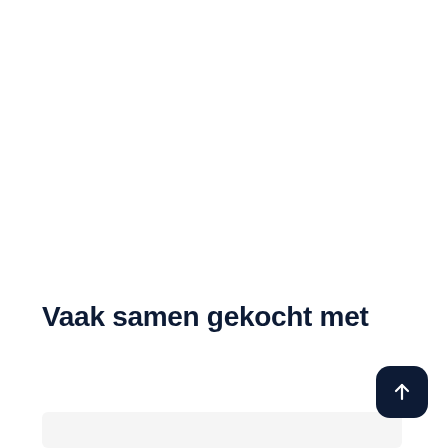Vaak samen gekocht met
[Figure (other): Scroll-to-top button with upward arrow icon, dark navy rounded square]